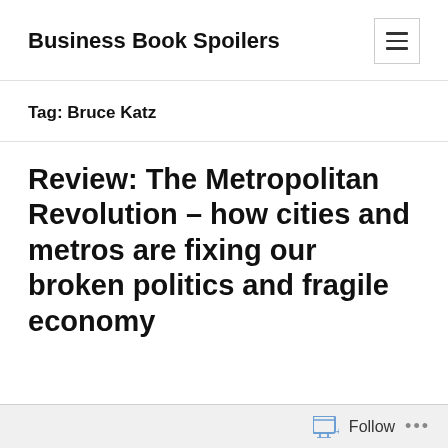Business Book Spoilers
Tag: Bruce Katz
Review: The Metropolitan Revolution – how cities and metros are fixing our broken politics and fragile economy
Follow